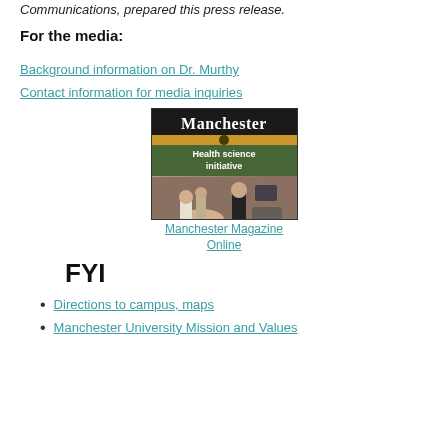Communications, prepared this press release.
For the media:
Background information on Dr. Murthy
Contact information for media inquiries
[Figure (photo): Cover of Manchester Magazine featuring Health science initiative with medical professionals attending to a patient]
Manchester Magazine Online
FYI
Directions to campus, maps
Manchester University Mission and Values